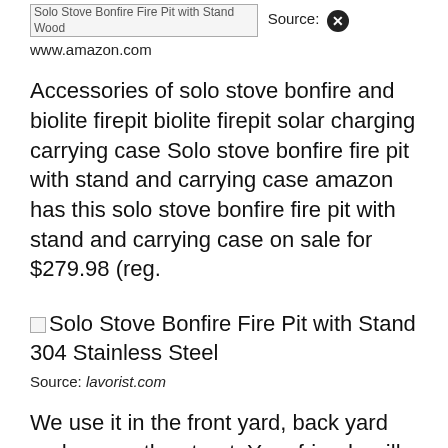[Figure (other): Broken image placeholder for 'Solo Stove Bonfire Fire Pit with Stand Wood' with a close/X button overlay]
Source: www.amazon.com
Accessories of solo stove bonfire and biolite firepit biolite firepit solar charging carrying case Solo stove bonfire fire pit with stand and carrying case amazon has this solo stove bonfire fire pit with stand and carrying case on sale for $279.98 (reg.
[Figure (other): Broken image placeholder for 'Solo Stove Bonfire Fire Pit with Stand 304 Stainless Steel']
Source: lavorist.com
We use it in the front yard, back yard and across the street. Your friends will like their clothes not smelling all smoky, and your neighbors can leave their windows open without complaint.